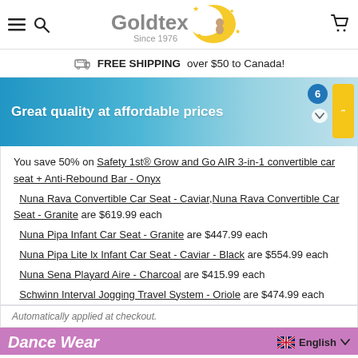[Figure (logo): Goldtex logo with crescent moon and child illustration, text 'Goldtex Since 1976']
FREE SHIPPING over $50 to Canada!
[Figure (photo): Banner image showing children in school uniforms on a teal background with text 'Great quality at affordable prices' and a yellow badge on the right. A blue circle with '6' is overlaid.]
You save 50% on Safety 1st® Grow and Go AIR 3-in-1 convertible car seat + Anti-Rebound Bar - Onyx
Nuna Rava Convertible Car Seat - Caviar, Nuna Rava Convertible Car Seat - Granite are $619.99 each
Nuna Pipa Infant Car Seat - Granite are $447.99 each
Nuna Pipa Lite lx Infant Car Seat - Caviar - Black are $554.99 each
Nuna Sena Playard Aire - Charcoal are $415.99 each
Schwinn Interval Jogging Travel System - Oriole are $474.99 each
Automatically applied at checkout.
Dance Wear   English